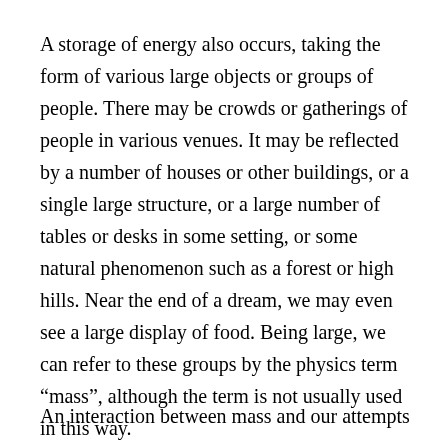A storage of energy also occurs, taking the form of various large objects or groups of people. There may be crowds or gatherings of people in various venues. It may be reflected by a number of houses or other buildings, or a single large structure, or a large number of tables or desks in some setting, or some natural phenomenon such as a forest or high hills. Near the end of a dream, we may even see a large display of food. Being large, we can refer to these groups by the physics term “mass”, although the term is not usually used in this way.
An interaction between mass and our attempts